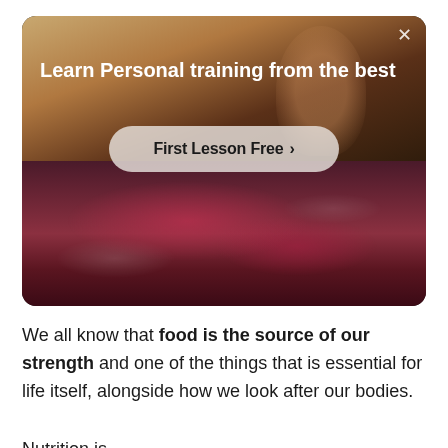[Figure (screenshot): Mobile app advertisement card with rounded corners. Upper half shows a warm-toned indoor photo of a person with arms raised, overlaid with white bold text 'Learn Personal training from the best' and a pill-shaped CTA button 'First Lesson Free ›'. Lower half shows a close-up photo of raw red meat. An × close button is in the top-right corner.]
We all know that food is the source of our strength and one of the things that is essential for life itself, alongside how we look after our bodies.
Nutrition is …